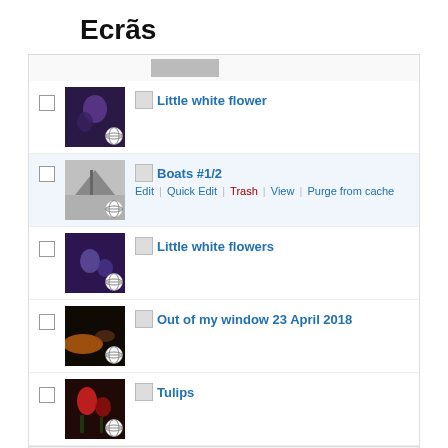Ecrãs
[Figure (screenshot): WordPress media/post list showing thumbnails with GEO indicators. Items shown: Little white flower, Boats #1/2 (with Edit/Quick Edit/Trash/View/Purge from cache actions), Little white flowers, Out of my window 23 April 2018, Tulips. Each has a checkbox, thumbnail image with globe/geo icon overlay, and a small image placeholder icon next to the post title.]
GEO indicator in the postlist
[Figure (screenshot): Row of five small thumbnail screenshots showing various views of the plugin interface at the bottom of the page.]